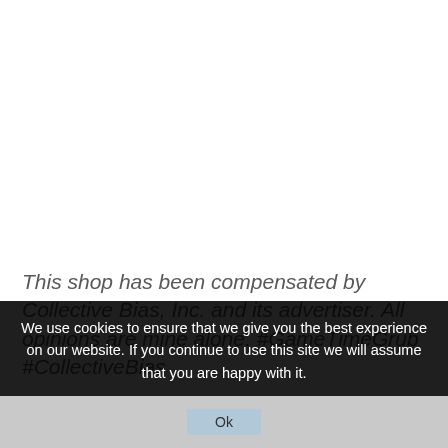This shop has been compensated by Collective Bias, Inc. and its advertiser. All opinions are mine alone. #GameTimeGrub #CollectiveBias
[Figure (photo): Partially visible food photo with a script/cursive logo overlay, cropped at the bottom of the page, obscured by cookie consent overlay]
We use cookies to ensure that we give you the best experience on our website. If you continue to use this site we will assume that you are happy with it.
Ok